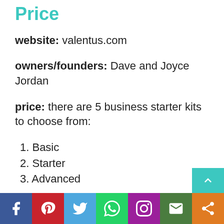Price
website: valentus.com
owners/founders: Dave and Joyce Jordan
price: there are 5 business starter kits to choose from:
1. Basic
2. Starter
3. Advanced